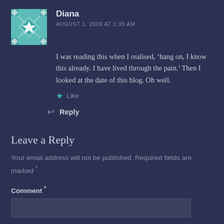[Figure (illustration): Avatar image: teal/white geometric quilt-pattern square icon for user Diana]
Diana
AUGUST 1, 2009 AT 1:35 AM
I was reading this when I realised, ‘hang on, I know this already. I have lived through the pain.’ Then I looked at the date of this blog. Oh well.
★ Like
↩ Reply
Leave a Reply
Your email address will not be published. Required fields are marked *
Comment *